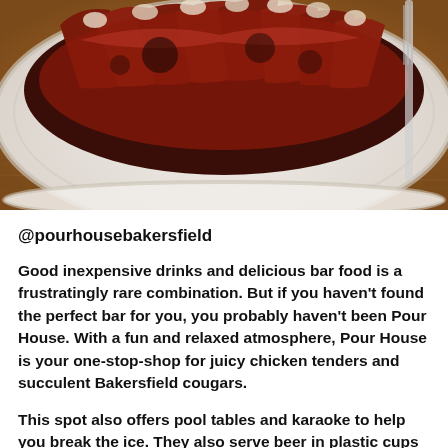[Figure (photo): Close-up photo of BBQ ribs on a white plate, with a wooden table surface visible in the background. The ribs are heavily sauced and charred.]
@pourhousebakersfield
Good inexpensive drinks and delicious bar food is a frustratingly rare combination. But if you haven't found the perfect bar for you, you probably haven't been Pour House. With a fun and relaxed atmosphere, Pour House is your one-stop-shop for juicy chicken tenders and succulent Bakersfield cougars.
This spot also offers pool tables and karaoke to help you break the ice. They also serve beer in plastic cups to keep